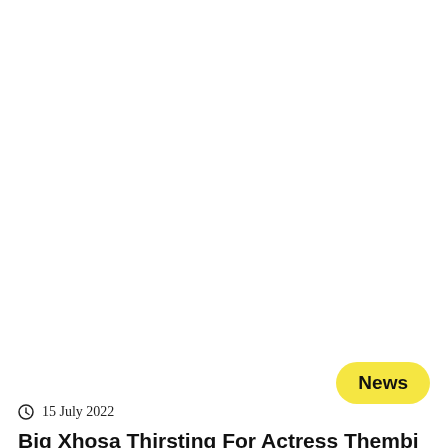News
15 July 2022
Big Xhosa Thirsting For Actress Thembi Seete